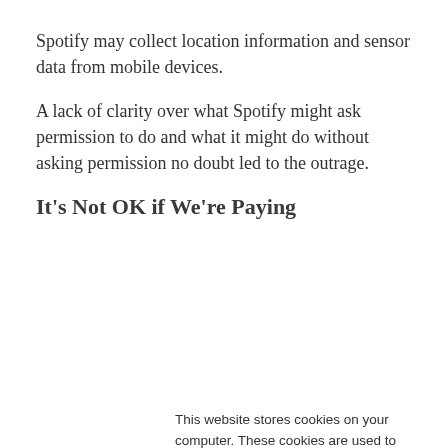Spotify may collect location information and sensor data from mobile devices.
A lack of clarity over what Spotify might ask permission to do and what it might do without asking permission no doubt led to the outrage.
It's Not OK if We're Paying
This website stores cookies on your computer. These cookies are used to collect information about how you interact with our website and allow us to remember you. We use this information in order to improve and customize your browsing experience and for analytics and metrics about our visitors both on this website and other media. To find out more about the cookies we use, see our Privacy Policy. California residents have the right to direct us not to sell their personal information to third parties by filing an Opt-Out Request: Do Not Sell My Personal Info.
Accept